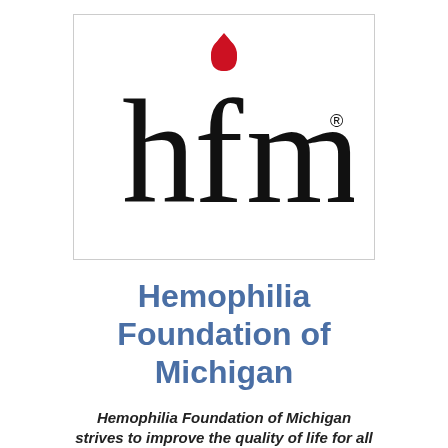[Figure (logo): HFM logo — lowercase letters 'hfm' in black serif font with a red blood drop above the 'f', and a registered trademark symbol after the 'm', inside a white box with a thin border]
Hemophilia Foundation of Michigan
Hemophilia Foundation of Michigan strives to improve the quality of life for all